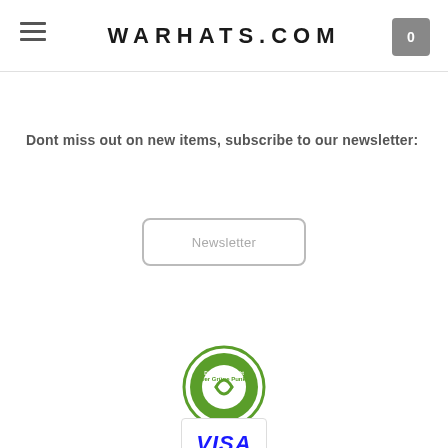WARHATS.COM
Dont miss out on new items, subscribe to our newsletter:
[Figure (other): Newsletter subscription button with rounded border and placeholder text 'Newsletter']
[Figure (logo): Der Grüne Punkt / Green Point circular logo - We participate badge]
[Figure (logo): VISA payment logo in blue italic text with light border]